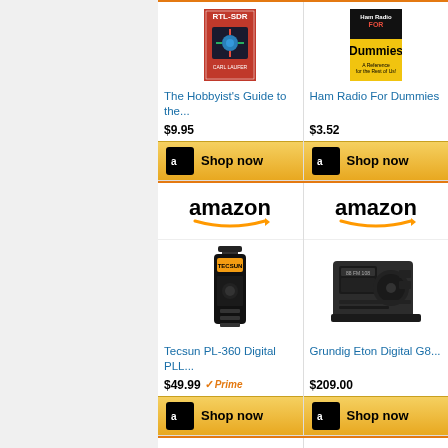[Figure (screenshot): Amazon product listing showing 4 products: The Hobbyist's Guide to the RTL-SDR ($9.95), Ham Radio For Dummies ($3.52), Tecsun PL-360 Digital PLL ($49.99 Prime), Grundig Eton Digital G8... ($209.00), each with Shop now buttons and Amazon logos.]